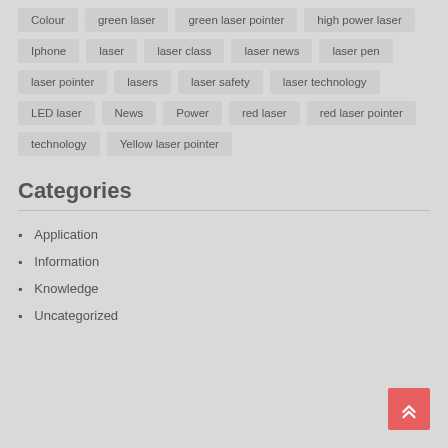Colour
green laser
green laser pointer
high power laser
Iphone
laser
laser class
laser news
laser pen
laser pointer
lasers
laser safety
laser technology
LED laser
News
Power
red laser
red laser pointer
technology
Yellow laser pointer
Categories
Application
Information
Knowledge
Uncategorized